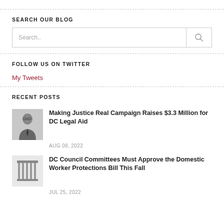SEARCH OUR BLOG
[Figure (other): Search input box with a search icon button on the right]
FOLLOW US ON TWITTER
My Tweets
RECENT POSTS
[Figure (photo): Thumbnail photo of a man in suit with glasses]
Making Justice Real Campaign Raises $3.3 Million for DC Legal Aid
AUG 08, 2022
[Figure (illustration): Thumbnail icon of a courthouse/columns illustration]
DC Council Committees Must Approve the Domestic Worker Protections Bill This Fall
JUL 25, 2022